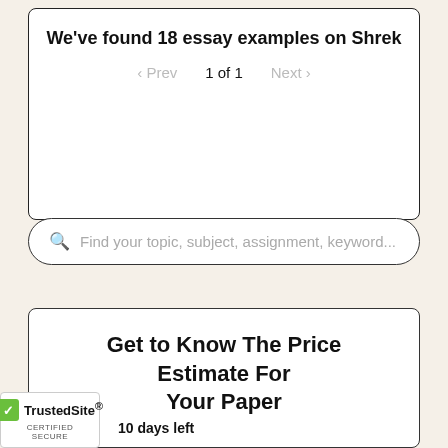We've found 18 essay examples on Shrek
Prev  1 of 1  Next
[Figure (screenshot): Search bar with placeholder text: Find your topic, subject, assignment, keyword...]
Get to Know The Price Estimate For Your Paper
Topic
What's Your Topic?
TrustedSite CERTIFIED SECURE
10 days left